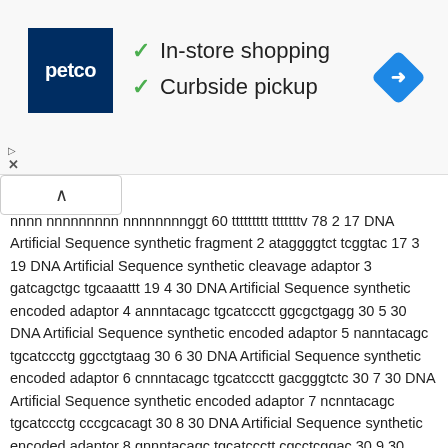[Figure (logo): Petco store logo advertisement banner with In-store shopping and Curbside pickup text, checkmarks, and navigation icon]
nnnn nnnnnnnnn nnnnnnnnggt 60 ttttttttt tttttttv 78 2 17 DNA Artificial Sequence synthetic fragment 2 ataggggtct tcggtac 17 3 19 DNA Artificial Sequence synthetic cleavage adaptor 3 gatcagctgc tgcaaattt 19 4 30 DNA Artificial Sequence synthetic encoded adaptor 4 annntacagc tgcatccctt ggcgctgagg 30 5 30 DNA Artificial Sequence synthetic encoded adaptor 5 nanntacagc tgcatccctg ggcctgtaag 30 6 30 DNA Artificial Sequence synthetic encoded adaptor 6 cnnntacagc tgcatccctt gacgggtctc 30 7 30 DNA Artificial Sequence synthetic encoded adaptor 7 ncnntacagc tgcatccctg cccgcacagt 30 8 30 DNA Artificial Sequence synthetic encoded adaptor 8 gnnntacagc tgcatccctt cgcctcggac 30 9 30 DNA Artificial Sequence synthetic encoded adaptor 9 ngnntacagc tgcatccctg atccgctagc 30 10 30 DNA Artificial Sequence synthetic encoded adaptor 10 tnnntacagc tgcatccctt ccgaacccgc 30 11 30 DNA Artificial Sequence synthetic encoded adaptor 11 ntnntacagc tgcatccctg agggggatag 30 12 30 DNA Artificial Sequence synthetic encoded adaptor 12 nnantacagc tgcatccctt cccgctacac 30 13 30 DNA Artificial Sequence synthetic encoded adaptor 13 nnnatacagc tgcatccctg actccccgag 30 14 30 DNA Artificial Sequence synthetic encoded adaptor 14 nnntacagc tgcatccctg tgtttacgagg 30 15 30 DNA Artificial